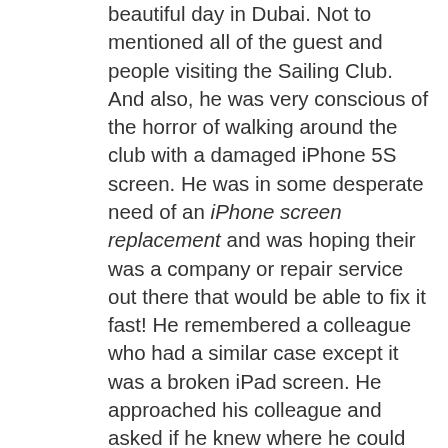beautiful day in Dubai. Not to mentioned all of the guest and people visiting the Sailing Club. And also, he was very conscious of the horror of walking around the club with a damaged iPhone 5S screen. He was in some desperate need of an iPhone screen replacement and was hoping their was a company or repair service out there that would be able to fix it fast! He remembered a colleague who had a similar case except it was a broken iPad screen. He approached his colleague and asked if he knew where he could get an iPhone screen replacement in Dubai. His colleague mentioned us here at iRepairUAE and was kind enough to say a few nice words. Martin decided to give us a shout as he was sick of cutting his fingers on the screen when trying to write a text message or phone call. After a few minutes of trying to fill out a repair form on our site he luckily was able to submit it and we were able to get in touch with him. Being such a beautiful day, we were excited to do the repair at the